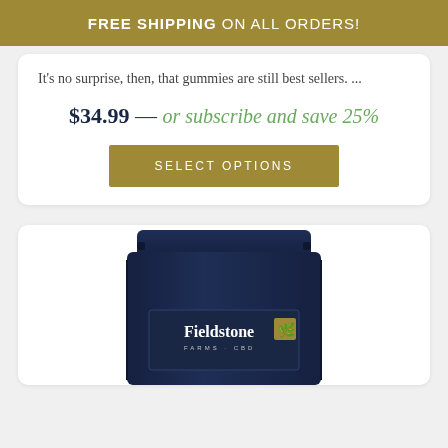FREE SHIPPING ON ALL ORDERS!
It's no surprise, then, that gummies are still best sellers. ...
$34.99 — or subscribe and save 25%
SELECT OPTIONS
[Figure (photo): Fieldstone Farms CBD product bag — dark navy blue resealable pouch with Fieldstone Farms CBD logo and cannabis leaf icon]